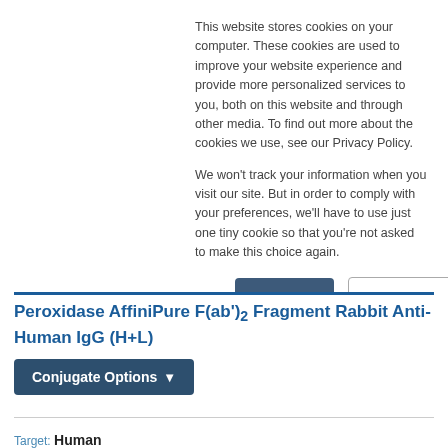This website stores cookies on your computer. These cookies are used to improve your website experience and provide more personalized services to you, both on this website and through other media. To find out more about the cookies we use, see our Privacy Policy.
We won't track your information when you visit our site. But in order to comply with your preferences, we'll have to use just one tiny cookie so that you're not asked to make this choice again.
Peroxidase AffiniPure F(ab')2 Fragment Rabbit Anti-Human IgG (H+L)
Conjugate Options
Target: Human
Host: Rabbit
Antibody Format: F(ab')2 Fragment
Specificity: IgG (H+L)